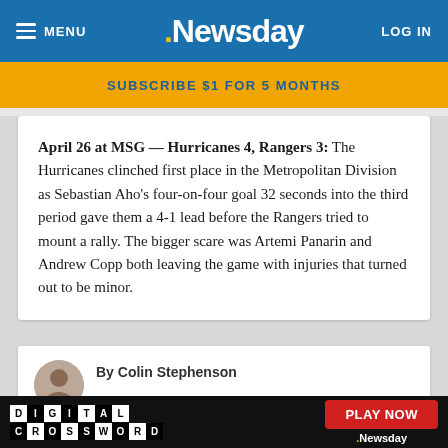MENU | Newsday | LOG IN
SUBSCRIBE $1 FOR 5 MONTHS
April 26 at MSG — Hurricanes 4, Rangers 3: The Hurricanes clinched first place in the Metropolitan Division as Sebastian Aho's four-on-four goal 32 seconds into the third period gave them a 4-1 lead before the Rangers tried to mount a rally. The bigger scare was Artemi Panarin and Andrew Copp both leaving the game with injuries that turned out to be minor.
By Colin Stephenson
[Figure (screenshot): Digital Crossword advertisement banner with PLAY NOW button and Newsday logo]